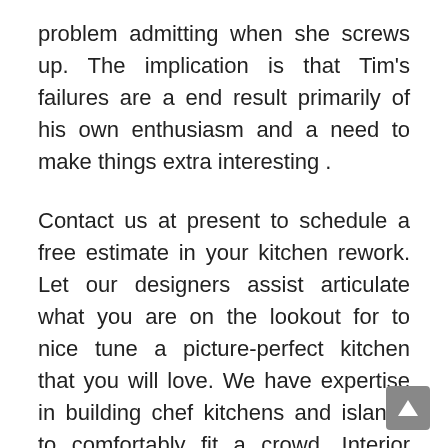problem admitting when she screws up. The implication is that Tim's failures are a end result primarily of his own enthusiasm and a need to make things extra interesting .
Contact us at present to schedule a free estimate in your kitchen rework. Let our designers assist articulate what you are on the lookout for to nice tune a picture-perfect kitchen that you will love. We have expertise in building chef kitchens and islands to comfortably fit a crowd. Interior reworking providers able to complete ground-up transformations. Our services encompass the information, labor, and forward thinking to